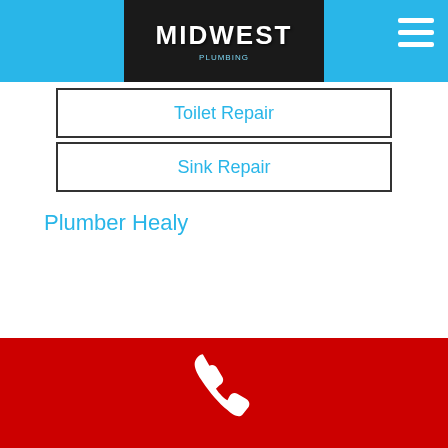[Figure (logo): Midwest plumbing company logo — white bold text on dark background, above a light blue header bar with hamburger menu icon on right]
Toilet Repair
Sink Repair
Plumber Healy
[Figure (illustration): White phone handset icon on red footer bar]